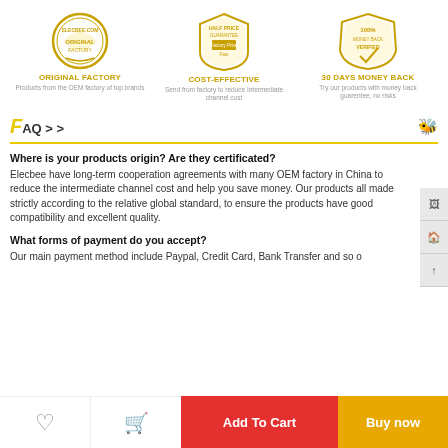[Figure (logo): Elecbee.com original factory gold badge/seal]
[Figure (logo): Half price guarantee - factory price fast gold badge]
[Figure (logo): 100% money back guarantee gold badge]
ORIGINAL FACTORY
Products from the OEM factory of top brands
COST-EFFECTIVE
Send from factory to reduce Intermediate channel cost
30 DAYS MONEY BACK
Try our products with money back guarentee, no risks
FAQ > >
Where is your products origin? Are they certificated?
Elecbee have long-term cooperation agreements with many OEM factory in China to reduce the intermediate channel cost and help you save money. Our products all made strictly according to the relative global standard, to ensure the products have good compatibility and excellent quality.
What forms of payment do you accept?
Our main payment method include Paypal, Credit Card, Bank Transfer and so o